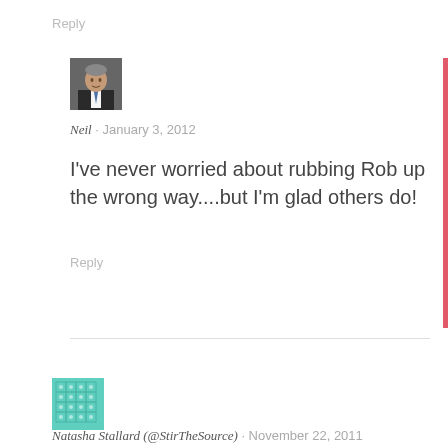Reply
[Figure (photo): Avatar photo of Neil, a man in a suit and tie]
Neil · January 3, 2012
I've never worried about rubbing Rob up the wrong way....but I'm glad others do!
Reply
[Figure (illustration): Decorative teal/mint colored pattern avatar for Natasha Stallard]
Natasha Stallard (@StirTheSource) · November 22, 2011